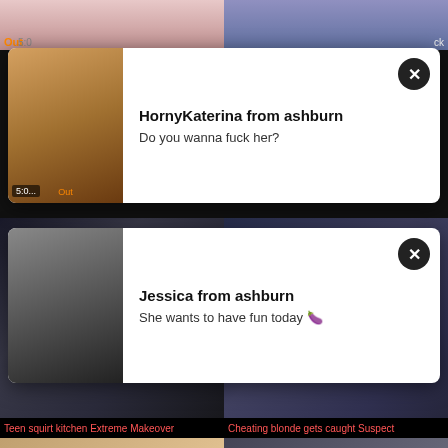[Figure (screenshot): Adult video thumbnail top left, partial image]
[Figure (screenshot): Adult video thumbnail top right, partial image]
HornyKaterina from ashburn
Do you wanna fuck her?
[Figure (screenshot): Ad popup with woman in brown bikini]
[Figure (screenshot): Adult video thumbnail middle left with woman]
Jessica from ashburn
She wants to have fun today 🍆
[Figure (screenshot): Ad popup with woman in black outfit]
8:00  teen  Teen squirt kitchen Extreme Makeover
8:00  cheating  Cheating blonde gets caught Suspect
[Figure (screenshot): Adult video thumbnail bottom left, two women]
[Figure (screenshot): Adult video thumbnail bottom right, couple]